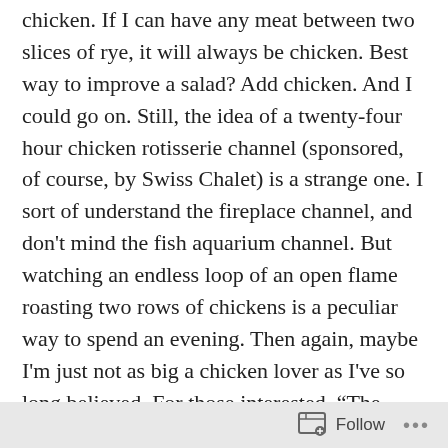chicken.  If I can have any meat between two slices of rye, it will always be chicken.  Best way to improve a salad?  Add chicken.  And I could go on.  Still, the idea of a twenty-four hour chicken rotisserie channel (sponsored, of course, by Swiss Chalet) is a strange one.  I sort of understand the fireplace channel, and don't mind the fish aquarium channel.  But watching an endless loop of an open flame roasting two rows of chickens is a peculiar way to spend an evening.  Then again, maybe I'm just not as big a chicken lover as I've so long believed.  For those interested, “The Rotisserie Channel,” as it’s been dubbed, is set to debut on February 28.  Click here for more.
BOLD CHOICES: Last week it was zombies; this week it’s Willem Dafoe.  For some, both are equally terrifying.  For me, however, Dafoe’s acting is top notch.  Though he
Follow